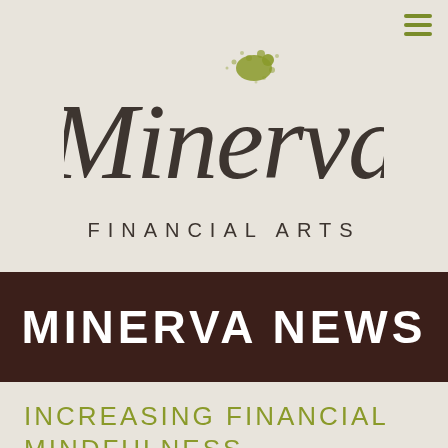[Figure (logo): Minerva Financial Arts logo — cursive 'Minerva' script in dark brown with an olive green ink-splash accent, and 'FINANCIAL ARTS' in spaced uppercase sans-serif below]
MINERVA NEWS
INCREASING FINANCIAL MINDFULNESS